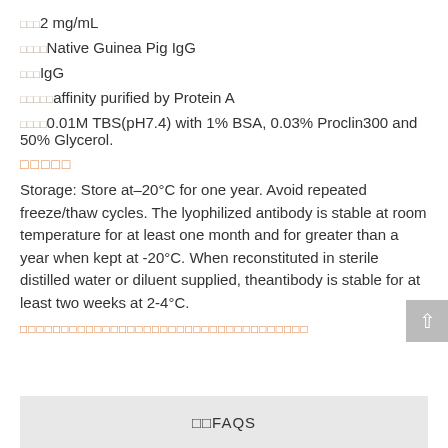□□□2 mg/mL
□□□□Native Guinea Pig IgG
□□□IgG
□□□□□affinity purified by Protein A
□□□□0.01M TBS(pH7.4) with 1% BSA, 0.03% Proclin300 and 50% Glycerol.
□□□□□
Storage: Store at–20°C for one year. Avoid repeated freeze/thaw cycles. The lyophilized antibody is stable at room temperature for at least one month and for greater than a year when kept at -20°C. When reconstituted in sterile distilled water or diluent supplied, theantibody is stable for at least two weeks at 2-4°C.
□□□□□□□□□□□□□□□□□□□□□□□□□□□□□□□□□□□
□□FAQS